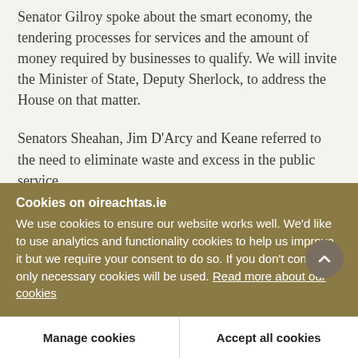Senator Gilroy spoke about the smart economy, the tendering processes for services and the amount of money required by businesses to qualify. We will invite the Minister of State, Deputy Sherlock, to address the House on that matter.
Senators Sheahan, Jim D'Arcy and Keane referred to the need to eliminate waste and excess in the public service.
I referred Senator Norris's correspondence about
Cookies on oireachtas.ie
We use cookies to ensure our website works well. We'd like to use analytics and functionality cookies to help us improve it but we require your consent to do so. If you don't consent, only necessary cookies will be used. Read more about our cookies
Manage cookies
Accept all cookies